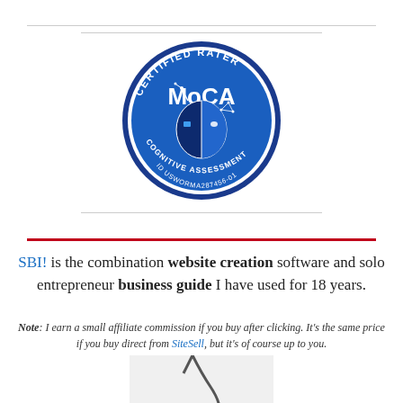[Figure (logo): MoCA Certified Rater badge — circular blue seal with 'CERTIFIED RATER' at top, 'MoCA' in large text, a stylized half-robot half-human face graphic, 'COGNITIVE ASSESSMENT' at bottom, and 'ID USWORMA287456-01' below that.]
SBI! is the combination website creation software and solo entrepreneur business guide I have used for 18 years.
Note: I earn a small affiliate commission if you buy after clicking. It's the same price if you buy direct from SiteSell, but it's of course up to you.
[Figure (photo): Partial photo of a stethoscope on a white background, showing the tubing and chest piece.]